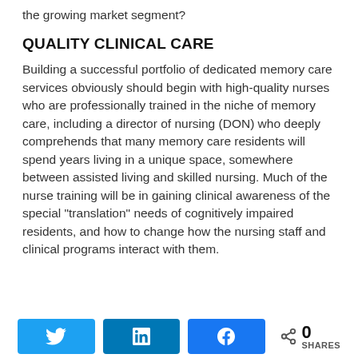the growing market segment?
QUALITY CLINICAL CARE
Building a successful portfolio of dedicated memory care services obviously should begin with high-quality nurses who are professionally trained in the niche of memory care, including a director of nursing (DON) who deeply comprehends that many memory care residents will spend years living in a unique space, somewhere between assisted living and skilled nursing. Much of the nurse training will be in gaining clinical awareness of the special “translation” needs of cognitively impaired residents, and how to change how the nursing staff and clinical programs interact with them.